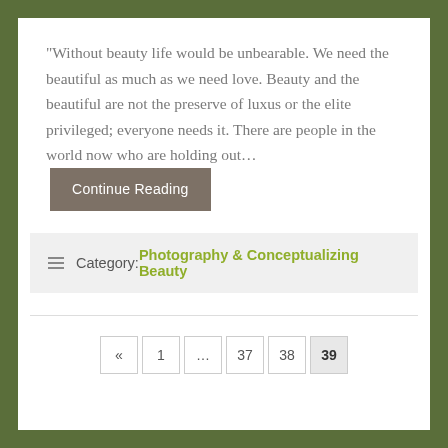“Without beauty life would be unbearable. We need the beautiful as much as we need love. Beauty and the beautiful are not the preserve of luxus or the elite privileged; everyone needs it. There are people in the world now who are holding out... Continue Reading
Category: Photography & Conceptualizing Beauty
« 1 ... 37 38 39